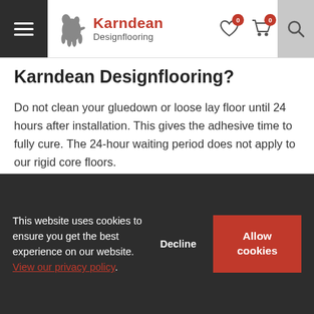Karndean Designflooring
Karndean Designflooring?
Do not clean your gluedown or loose lay floor until 24 hours after installation. This gives the adhesive time to fully cure. The 24-hour waiting period does not apply to our rigid core floors.
How should I protect my Karndean Designflooring against furniture?
Protecting felt pads under the feet of your furniture
This website uses cookies to ensure you get the best experience on our website. View our privacy policy. Decline  Allow cookies